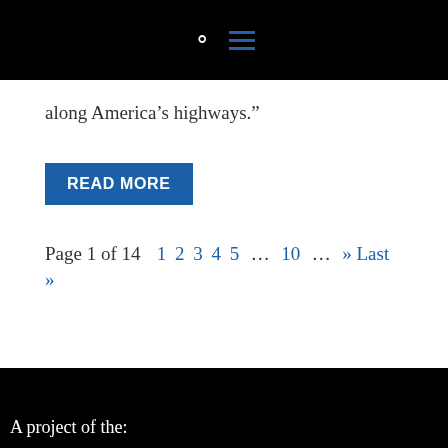along America’s highways.”
READ MORE
Page 1 of 14  1  2  3  4  5  …  10  …  » Last »
A project of the: